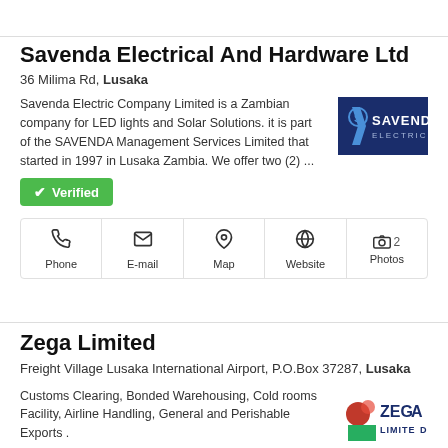Savenda Electrical And Hardware Ltd
36 Milima Rd, Lusaka
Savenda Electric Company Limited is a Zambian company for LED lights and Solar Solutions. it is part of the SAVENDA Management Services Limited that started in 1997 in Lusaka Zambia. We offer two (2) ...
[Figure (logo): Savenda Electric company logo — navy blue background with white text SAVENDA ELECTRIC and a stylized G/S icon]
Verified
Phone | E-mail | Map | Website | 2 Photos
Zega Limited
Freight Village Lusaka International Airport, P.O.Box 37287, Lusaka
Customs Clearing, Bonded Warehousing, Cold rooms Facility, Airline Handling, General and Perishable Exports .
[Figure (logo): Zega Limited logo — white and green with red circle/dot motif and ZEGA LIMITED text]
Verified